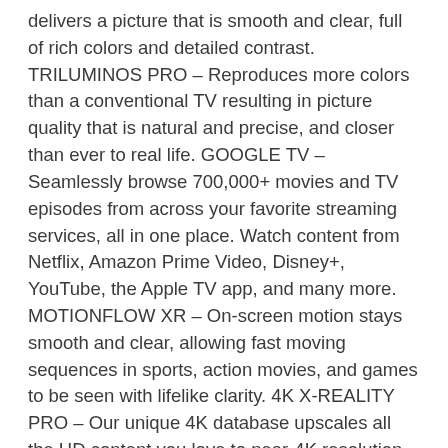delivers a picture that is smooth and clear, full of rich colors and detailed contrast. TRILUMINOS PRO – Reproduces more colors than a conventional TV resulting in picture quality that is natural and precise, and closer than ever to real life. GOOGLE TV – Seamlessly browse 700,000+ movies and TV episodes from across your favorite streaming services, all in one place. Watch content from Netflix, Amazon Prime Video, Disney+, YouTube, the Apple TV app, and many more. MOTIONFLOW XR – On-screen motion stays smooth and clear, allowing fast moving sequences in sports, action movies, and games to be seen with lifelike clarity. 4K X-REALITY PRO – Our unique 4K database upscales all the HD content you love to near-4K resolution bringing back real-world detail and texture. WORKS WITH ALEXA – Through an Alexa enabled device, ask Alexa to change channels, adjust volume, and turn your TV on/off. HIGH DYNAMIC RANGE (HDR) & DOLBY Vision – Enjoy immersive and